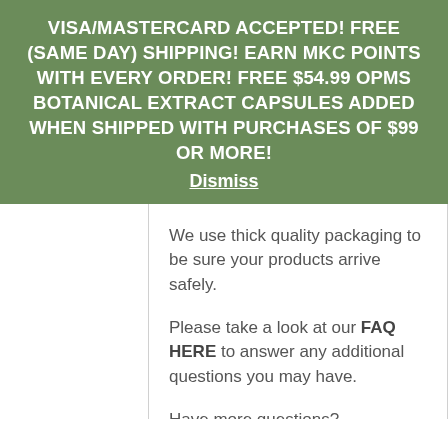VISA/MASTERCARD ACCEPTED! FREE (SAME DAY) SHIPPING! EARN MKC POINTS WITH EVERY ORDER! FREE $54.99 OPMS BOTANICAL EXTRACT CAPSULES ADDED WHEN SHIPPED WITH PURCHASES OF $99 OR MORE! Dismiss
We use thick quality packaging to be sure your products arrive safely.
Please take a look at our FAQ HERE to answer any additional questions you may have.
Have more questions?
Reach out to us in multiple ways as shown below: